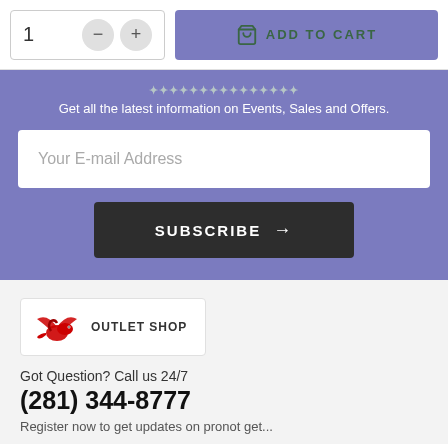[Figure (screenshot): Add to cart UI with quantity selector showing 1, minus and plus buttons, and a purple ADD TO CART button with shopping bag icon]
Get all the latest information on Events, Sales and Offers.
[Figure (screenshot): Email input field with placeholder text 'Your E-mail Address']
SUBSCRIBE →
[Figure (logo): Dragon Outlet Shop logo with red dragon graphic and text OUTLET SHOP]
Got Question? Call us 24/7
(281) 344-8777
Register now to get updates on pronot get...